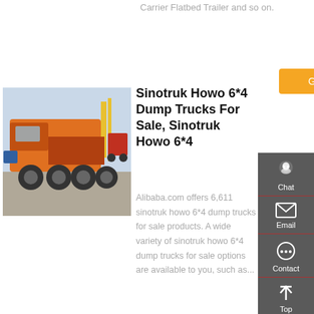Carrier Flatbed Trailer and so on.
Get a Quote
[Figure (photo): Orange Sinotruk Howo 6x4 truck tractor rear/side view in a yard]
Sinotruk Howo 6*4 Dump Trucks For Sale, Sinotruk Howo 6*4
Alibaba.com offers 6,611 sinotruk howo 6*4 dump trucks for sale products. A wide variety of sinotruk howo 6*4 dump trucks for sale options are available to you, such as...
Get a Quote